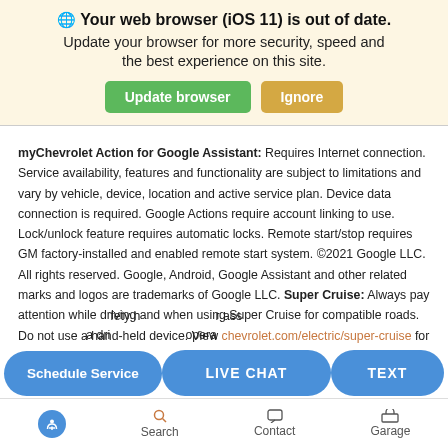🌐 Your web browser (iOS 11) is out of date. Update your browser for more security, speed and the best experience on this site.
[Figure (screenshot): Two buttons: green 'Update browser' and tan 'Ignore']
myChevrolet Action for Google Assistant: Requires Internet connection. Service availability, features and functionality are subject to limitations and vary by vehicle, device, location and active service plan. Device data connection is required. Google Actions require account linking to use. Lock/unlock feature requires automatic locks. Remote start/stop requires GM factory-installed and enabled remote start system. ©2021 Google LLC. All rights reserved. Google, Android, Google Assistant and other related marks and logos are trademarks of Google LLC. Super Cruise: Always pay attention while driving and when using Super Cruise for compatible roads. Do not use a hand-held device. View chevrolet.com/electric/super-cruise for
[Figure (screenshot): Three blue pill-shaped buttons: 'Schedule Service', 'LIVE CHAT', 'TEXT' overlaid on the page]
[Figure (screenshot): Bottom navigation bar with accessibility icon, Search, Contact, Garage]